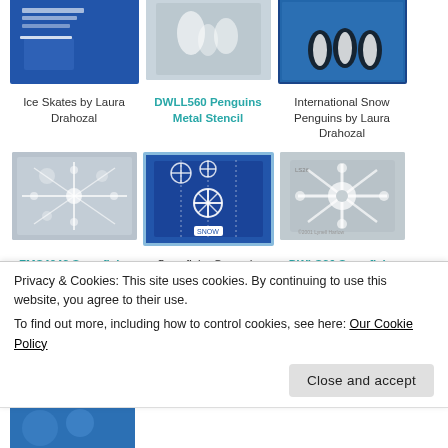[Figure (photo): Ice skates craft card on blue background]
[Figure (photo): DWLL560 Penguins Metal Stencil silver product image]
[Figure (photo): International Snow Penguins card with penguins on blue snowy background]
Ice Skates by Laura Drahozal
DWLL560 Penguins Metal Stencil
International Snow Penguins by Laura Drahozal
[Figure (photo): FMS4042 Snowflake metal stencil silver]
[Figure (photo): Snowflake Cascade card with blue background and snowflake pattern]
[Figure (photo): DWLS26 Snowflake metal stencil silver]
FMS4042 Snowflake
Snowflake Cascade
DWLS26 Snowflake
Privacy & Cookies: This site uses cookies. By continuing to use this website, you agree to their use.
To find out more, including how to control cookies, see here: Our Cookie Policy
Close and accept
[Figure (photo): Partial bottom image showing blue craft artwork]